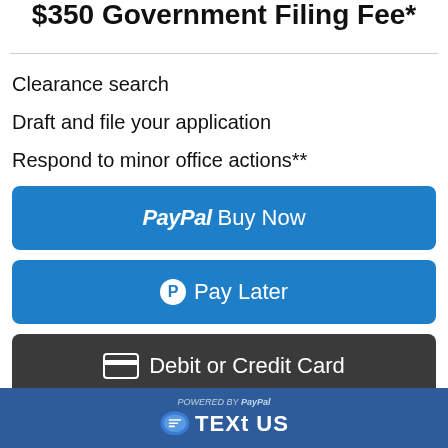$350 Government Filing Fee*
Clearance search
Draft and file your application
Respond to minor office actions**
[Figure (other): PayPal Buy Now button - blue rounded rectangle with PayPal logo and 'Buy Now' text]
[Figure (other): PayPal Pay Later button - blue rounded rectangle with PayPal P icon and 'Pay Later' text]
[Figure (other): Debit or Credit Card button - dark rounded rectangle with card icon and text]
Powered by PayPal  TEXT US